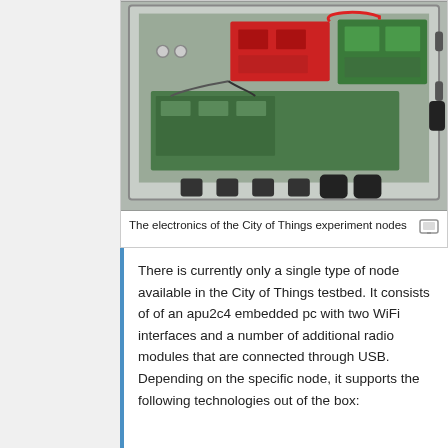[Figure (photo): Photo of the electronics inside a City of Things experiment node enclosure — an open metal/plastic box containing circuit boards (including a red board and green boards), wiring, and cables, with several conduit connectors at the bottom.]
The electronics of the City of Things experiment nodes
There is currently only a single type of node available in the City of Things testbed. It consists of of an apu2c4 embedded pc with two WiFi interfaces and a number of additional radio modules that are connected through USB. Depending on the specific node, it supports the following technologies out of the box: